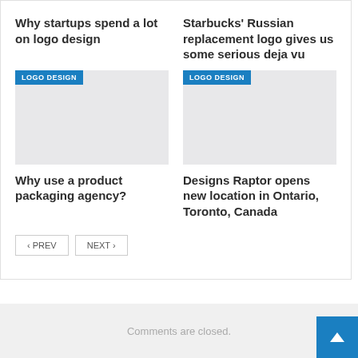Why startups spend a lot on logo design
Starbucks' Russian replacement logo gives us some serious deja vu
[Figure (other): Logo Design badge with gray image placeholder - left column]
[Figure (other): Logo Design badge with gray image placeholder - right column]
Why use a product packaging agency?
Designs Raptor opens new location in Ontario, Toronto, Canada
‹ PREV
NEXT ›
Comments are closed.